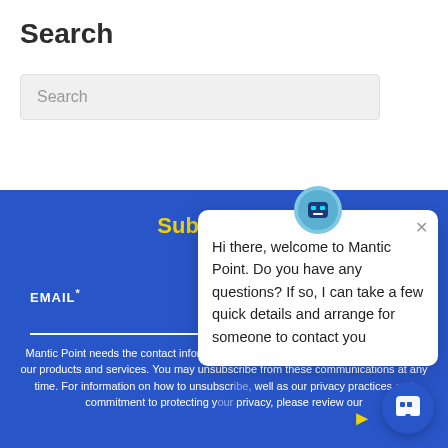Search
[Figure (screenshot): Search input box with placeholder text 'Search']
[Figure (screenshot): Blue footer section with 'Subscribe to' heading in white/yellow and EMAIL* field]
Hi there, welcome to Mantic Point. Do you have any questions? If so, I can take a few quick details and arrange for someone to contact you
Mantic Point needs the contact information you provide to us to contact you about our products and services. You may unsubscribe from these communications at any time. For information on how to unsubscribe, as well as our privacy practices and commitment to protecting your privacy, please review our